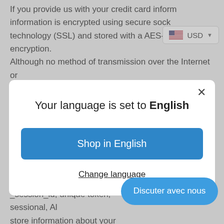If you provide us with your credit card information, information is encrypted using secure sockets layer technology (SSL) and stored with a AES-256 encryption. Although no method of transmission over the Internet or electronic storage is 100% secure, we follow all PCI-DSS
[Figure (screenshot): USD currency selector badge with US flag]
[Figure (screenshot): Modal dialog with language selection: 'Your language is set to English', with 'Shop in English' button and 'Change language' link]
or cookies or not.
_session_id, unique token, sessional, Allows store information about your session (referrer, landing page, etc).
[Figure (screenshot): Blue chat button labeled 'Discuter avec nous']